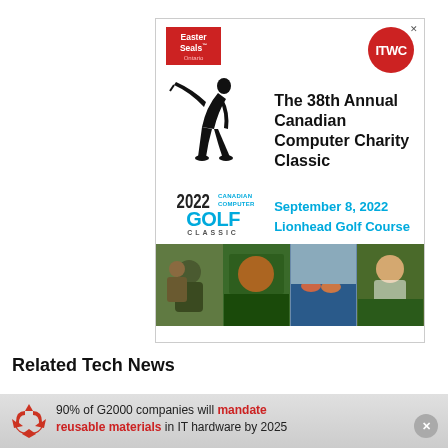[Figure (illustration): Advertisement for the 38th Annual Canadian Computer Charity Classic golf tournament. Features Easter Seals Ontario logo (red stamp), ITWC red circle logo, golfer silhouette swinging club, 2022 Canadian Computer Golf Classic logo, event text 'The 38th Annual Canadian Computer Charity Classic', date 'September 8, 2022', venue 'Lionhead Golf Course', and four photos at the bottom showing participants.]
Related Tech News
90% of G2000 companies will mandate reusable materials in IT hardware by 2025